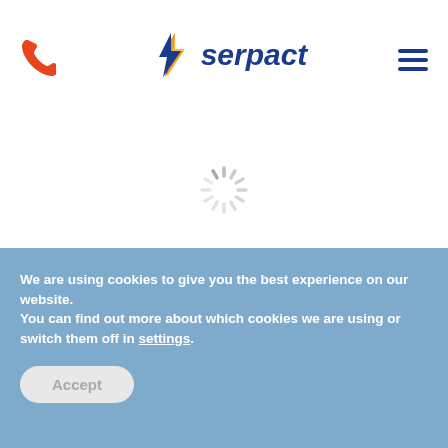[Figure (logo): Serpact logo with lightning bolt icon in blue/orange/yellow and 'serpact' text in dark blue]
[Figure (other): Loading spinner (circular grey dashes animation)]
We are using cookies to give you the best experience on our website.
You can find out more about which cookies we are using or switch them off in settings.
Accept